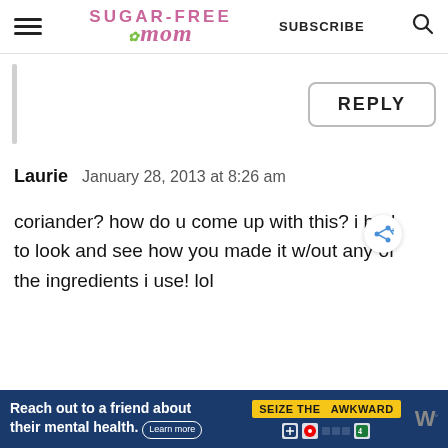Sugar-Free Mom | SUBSCRIBE
REPLY
Laurie   January 28, 2013 at 8:26 am
coriander? how do u come up with this? i had to look and see how you made it w/out any of the ingredients i use! lol
Reach out to a friend about their mental health. Learn more | SEIZE THE AWKWARD